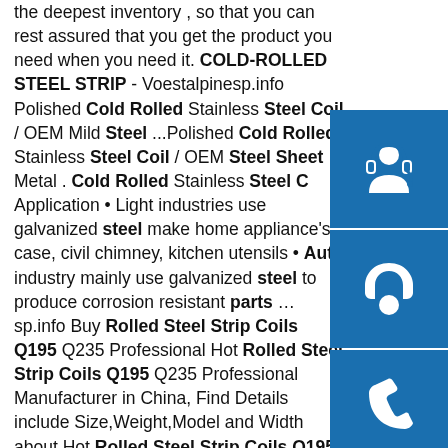the deepest inventory , so that you can rest assured that you get the product you need when you need it. COLD-ROLLED STEEL STRIP - Voestalpinesp.info Polished Cold Rolled Stainless Steel Coil / OEM Mild Steel ...Polished Cold Rolled Stainless Steel Coil / OEM Steel Sheet Metal . Cold Rolled Stainless Steel C Application • Light industries use galvanized steel make home appliance's case, civil chimney, kitchen utensils • Auto industry mainly use galvanized steel to produce corrosion resistant parts …sp.info Buy Rolled Steel Strip Coils Q195 Q235 Professional Hot Rolled Steel Strip Coils Q195 Q235 Professional Manufacturer in China, Find Details include Size,Weight,Model and Width about Hot Rolled Steel Strip Coils Q195 Q235 Professional Manufacturer in China. Make an Inquiry for Hot Rolled Steel Strip Coils Q195 Q235 Professional Manufacturer in China at OKorder.com.sp.info Hot rolled coil, strip and plate, OutokumpuCold rolled coil, strip and sheet Precision
[Figure (infographic): Three blue square icon boxes stacked vertically on the right side: headset/customer support icon, phone call icon, and Skype icon]